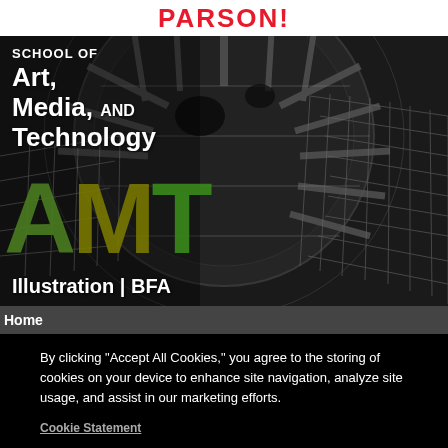PARSONS
[Figure (photo): A dark abstract 3D rendering of large gear/cog machinery with School of Art, Media, and Technology overlay text, AMT letters in green and olive tones, and 'Illustration | BFA' subtitle]
SCHOOL OF Art, Media, AND Technology
AMT
Illustration | BFA
Home
By clicking “Accept All Cookies,” you agree to the storing of cookies on your device to enhance site navigation, analyze site usage, and assist in our marketing efforts.
Cookie Statement
Customize Settings
Accept All Cookies